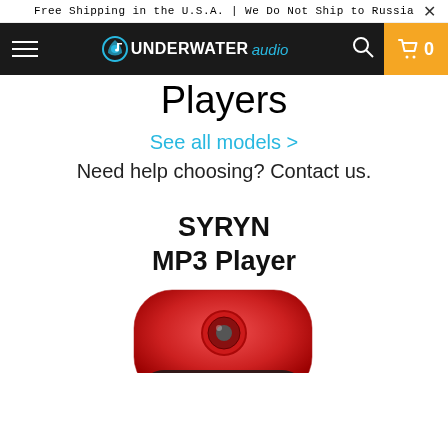Free Shipping in the U.S.A. | We Do Not Ship to Russia
[Figure (screenshot): Underwater Audio navigation bar with hamburger menu, logo, search icon, and cart showing 0]
Players
See all models >
Need help choosing? Contact us.
SYRYN
MP3 Player
[Figure (photo): Red SYRYN waterproof MP3 player device, partially cropped at bottom of page]